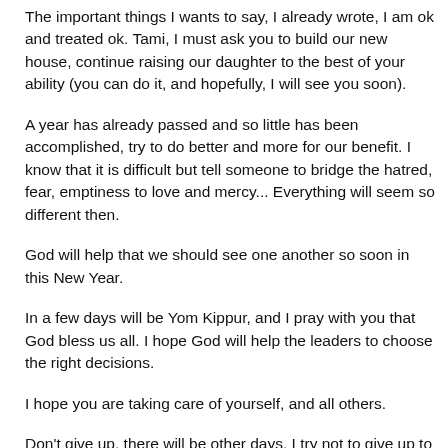The important things I wants to say, I already wrote, I am ok and treated ok. Tami, I must ask you to build our new house, continue raising our daughter to the best of your ability (you can do it, and hopefully, I will see you soon).
A year has already passed and so little has been accomplished, try to do better and more for our benefit. I know that it is difficult but tell someone to bridge the hatred, fear, emptiness to love and mercy... Everything will seem so different then.
God will help that we should see one another so soon in this New Year.
In a few days will be Yom Kippur, and I pray with you that God bless us all. I hope God will help the leaders to choose the right decisions.
I hope you are taking care of yourself, and all others.
Don't give up, there will be other days. I try not to give up to